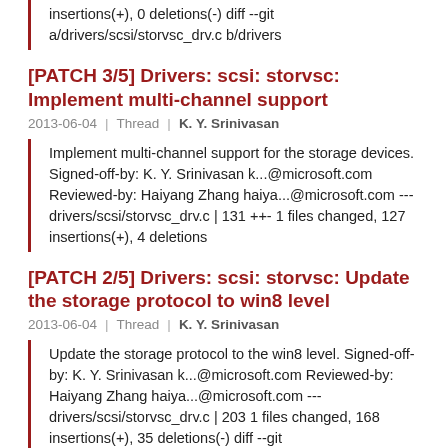insertions(+), 0 deletions(-) diff --git a/drivers/scsi/storvsc_drv.c b/drivers
[PATCH 3/5] Drivers: scsi: storvsc: Implement multi-channel support
2013-06-04 | Thread | K. Y. Srinivasan
Implement multi-channel support for the storage devices. Signed-off-by: K. Y. Srinivasan k...@microsoft.com Reviewed-by: Haiyang Zhang haiya...@microsoft.com --- drivers/scsi/storvsc_drv.c | 131 ++- 1 files changed, 127 insertions(+), 4 deletions
[PATCH 2/5] Drivers: scsi: storvsc: Update the storage protocol to win8 level
2013-06-04 | Thread | K. Y. Srinivasan
Update the storage protocol to the win8 level. Signed-off-by: K. Y. Srinivasan k...@microsoft.com Reviewed-by: Haiyang Zhang haiya...@microsoft.com --- drivers/scsi/storvsc_drv.c | 203 1 files changed, 168 insertions(+), 35 deletions(-) diff --git
[PATCH 1/5] Drivers: scsi: storvsc: Increase the value of scsi timeout for storvsc devices